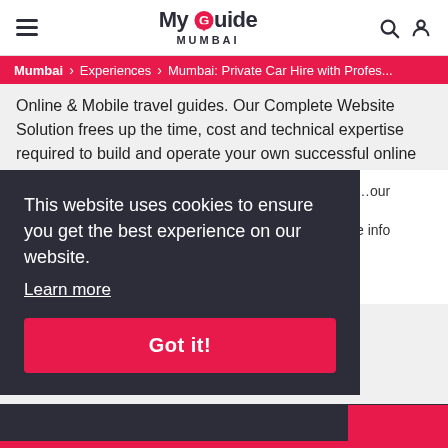My Guide Mumbai
Mumbai > Experiences > Mumbai: Private Car Hire with Profes...
Online & Mobile travel guides. Our Complete Website Solution frees up the time, cost and technical expertise required to build and operate your own successful online travel business.
A Global Network of Local Experts
An Established Travel Brand
Cutting Edge Technology
This website uses cookies to ensure you get the best experience on our website.
Learn more
Got it!